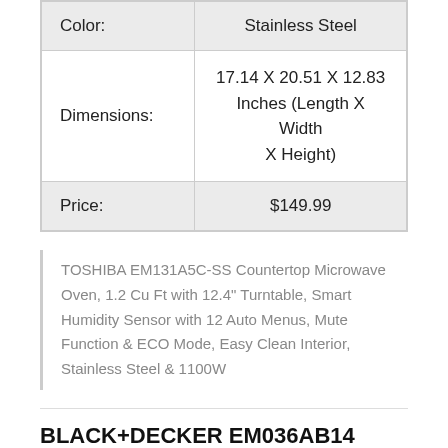| Attribute | Value |
| --- | --- |
| Color: | Stainless Steel |
| Dimensions: | 17.14 X 20.51 X 12.83 Inches (Length X Width X Height) |
| Price: | $149.99 |
TOSHIBA EM131A5C-SS Countertop Microwave Oven, 1.2 Cu Ft with 12.4" Turntable, Smart Humidity Sensor with 12 Auto Menus, Mute Function & ECO Mode, Easy Clean Interior, Stainless Steel & 1100W
BLACK+DECKER EM036AB14 Digital